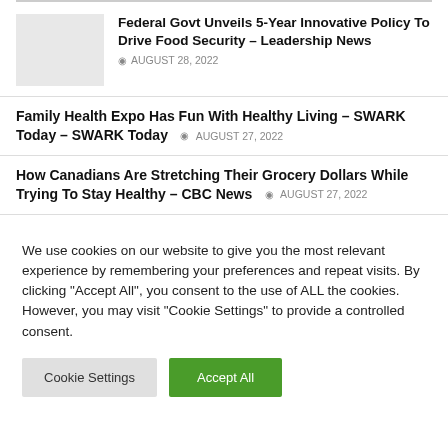Federal Govt Unveils 5-Year Innovative Policy To Drive Food Security – Leadership News  AUGUST 28, 2022
Family Health Expo Has Fun With Healthy Living – SWARK Today – SWARK Today  AUGUST 27, 2022
How Canadians Are Stretching Their Grocery Dollars While Trying To Stay Healthy – CBC News  AUGUST 27, 2022
We use cookies on our website to give you the most relevant experience by remembering your preferences and repeat visits. By clicking "Accept All", you consent to the use of ALL the cookies. However, you may visit "Cookie Settings" to provide a controlled consent.